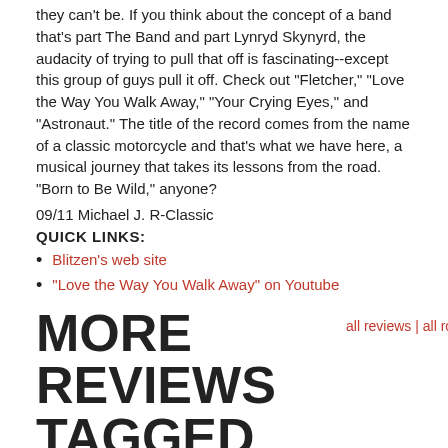they can't be. If you think about the concept of a band that's part The Band and part Lynryd Skynyrd, the audacity of trying to pull that off is fascinating--except this group of guys pull it off. Check out "Fletcher," "Love the Way You Walk Away," "Your Crying Eyes," and "Astronaut." The title of the record comes from the name of a classic motorcycle and that's what we have here, a musical journey that takes its lessons from the road. "Born to Be Wild," anyone?
09/11 Michael J. R-Classic
QUICK LINKS:
Blitzen's web site
"Love the Way You Walk Away" on Youtube
MORE REVIEWS TAGGED #ROCK
all reviews | all rock reviews
reviewed   reviewed   reviewed   reviewed